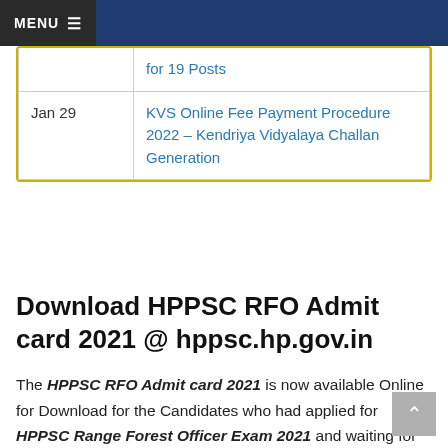MENU
| Date | Title |
| --- | --- |
|  | for 19 Posts |
| Jan 29 | KVS Online Fee Payment Procedure 2022 – Kendriya Vidyalaya Challan Generation |
Download HPPSC RFO Admit card 2021 @ hppsc.hp.gov.in
The HPPSC RFO Admit card 2021 is now available Online for Download for the Candidates who had applied for HPPSC Range Forest Officer Exam 2021 and waiting for The Admit card Release. Here on this page, we have uploaded the direct link to Download